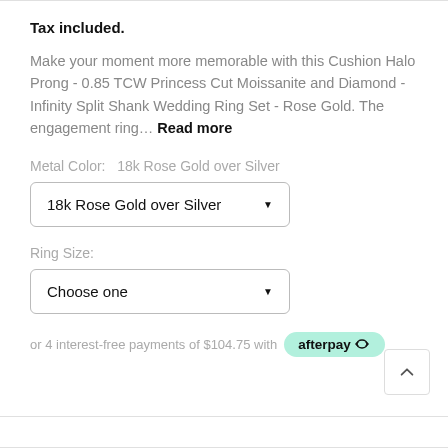Tax included.
Make your moment more memorable with this Cushion Halo Prong - 0.85 TCW Princess Cut Moissanite and Diamond - Infinity Split Shank Wedding Ring Set - Rose Gold. The engagement ring... Read more
Metal Color:  18k Rose Gold over Silver
18k Rose Gold over Silver [dropdown]
Ring Size:
Choose one [dropdown]
or 4 interest-free payments of $104.75 with afterpay